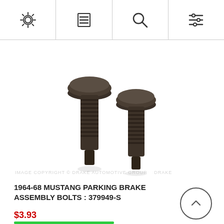[navigation icons: settings, menu, search, filter]
[Figure (photo): Two dark metal bolts with wide mushroom heads and threaded shafts, photographed against a white background. Part of a parking brake assembly for 1964-68 Ford Mustang.]
IMAGE COPYRIGHT © DRAKE AUTOMOTIVE GROUP  DRAKE
1964-68 MUSTANG PARKING BRAKE ASSEMBLY BOLTS : 379949-S
$3.93